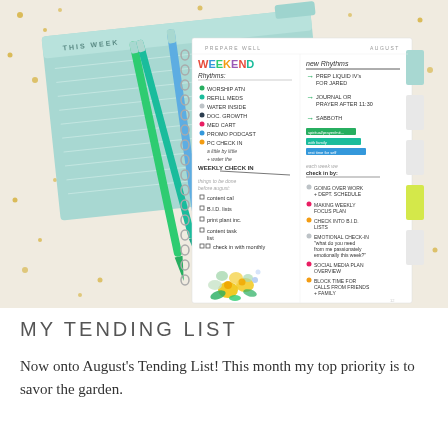[Figure (photo): Photograph of an open spiral-bound planner/journal with handwritten notes about 'Weekend Rhythms' and 'New Rhythms' with colored dot bullet points and arrow items, alongside teal and blue pens resting on the planner page, on a gold confetti background. Another teal planner is visible underneath.]
MY TENDING LIST
Now onto August's Tending List! This month my top priority is to savor the garden.